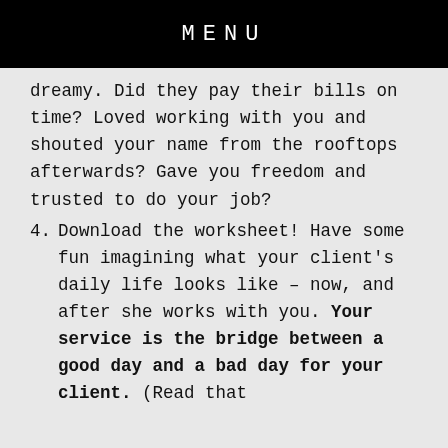MENU
dreamy. Did they pay their bills on time? Loved working with you and shouted your name from the rooftops afterwards? Gave you freedom and trusted to do your job?
4. Download the worksheet! Have some fun imagining what your client's daily life looks like – now, and after she works with you. Your service is the bridge between a good day and a bad day for your client. (Read that